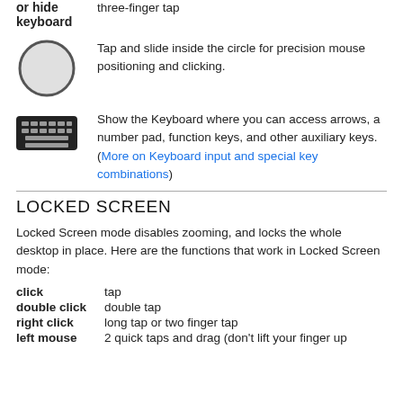or hide keyboard     three-finger tap
[Figure (illustration): Circle icon representing trackpad/mouse area for precision mouse positioning]
Tap and slide inside the circle for precision mouse positioning and clicking.
[Figure (illustration): Black keyboard icon]
Show the Keyboard where you can access arrows, a number pad, function keys, and other auxiliary keys. (More on Keyboard input and special key combinations)
LOCKED SCREEN
Locked Screen mode disables zooming, and locks the whole desktop in place. Here are the functions that work in Locked Screen mode:
click     tap
double click     double tap
right click     long tap or two finger tap
left mouse     2 quick taps and drag (don't lift your finger up